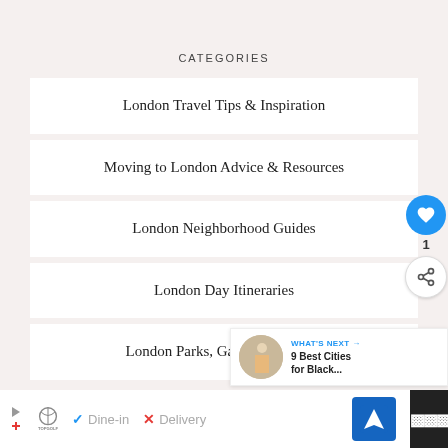CATEGORIES
London Travel Tips & Inspiration
Moving to London Advice & Resources
London Neighborhood Guides
London Day Itineraries
London Parks, Gardens & Mews
WHAT'S NEXT → 9 Best Cities for Black...
[Figure (infographic): Advertisement bar at bottom: Topgolf logo with Dine-in checkmark and Delivery X mark, navigation icon, and Tidal icon]
1